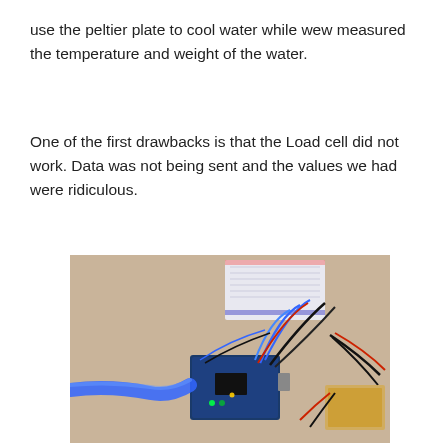use the peltier plate to cool water while wew measured the temperature and weight of the water.
One of the first drawbacks is that the Load cell did not work. Data was not being sent and the values we had were ridiculous.
[Figure (photo): Photo of an Arduino microcontroller board connected to a breadboard with multiple wires (blue, black, red) running between components on a beige surface. A blue USB or ethernet cable connects to the left side of the Arduino.]